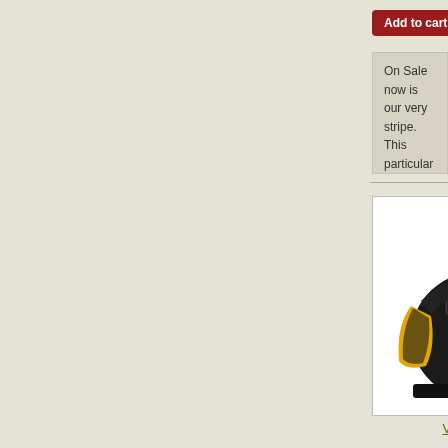[Figure (other): Red Add to cart button and Add to (wishlist) link at top, partially cropped]
On Sale now is our very... stripe. This particular jack... popular back-up jacket o...
[Figure (photo): Black and yellow motorcycle cordura jacket product photo]
View details >>
Cordura Jackets
CODE: LP-11-CG
Price: $69.99
In stock:    1 i
colour:    B
size:    s
[Figure (other): Red Add to cart button and Add to link]
On Sale now is our very p... This particular jacket com... popular back-up jacket o...
[Figure (photo): Black motorcycle cordura jacket product photo, partially visible]
Cordura Jackets
CODE: LP-12-CG
Price: $69.99